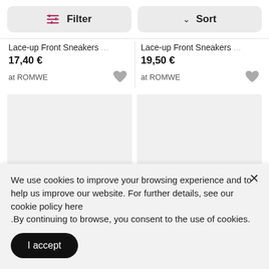Filter
Sort
Lace-up Front Sneakers ...
17,40 €
at ROMWE
Lace-up Front Sneakers ...
19,50 €
at ROMWE
[Figure (other): Product image placeholder (light gray rectangle)]
[Figure (other): Product image placeholder (light gray rectangle)]
We use cookies to improve your browsing experience and to help us improve our website. For further details, see our cookie policy here .By continuing to browse, you consent to the use of cookies.
I accept